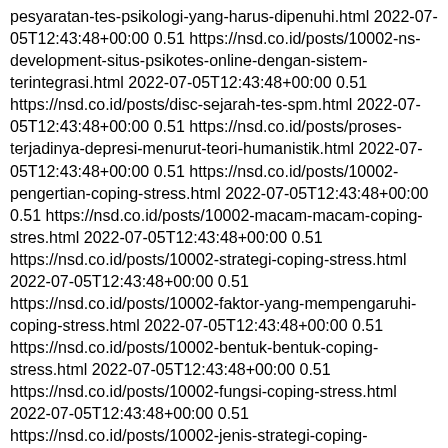pesyaratan-tes-psikologi-yang-harus-dipenuhi.html 2022-07-05T12:43:48+00:00 0.51 https://nsd.co.id/posts/10002-ns-development-situs-psikotes-online-dengan-sistem-terintegrasi.html 2022-07-05T12:43:48+00:00 0.51 https://nsd.co.id/posts/disc-sejarah-tes-spm.html 2022-07-05T12:43:48+00:00 0.51 https://nsd.co.id/posts/proses-terjadinya-depresi-menurut-teori-humanistik.html 2022-07-05T12:43:48+00:00 0.51 https://nsd.co.id/posts/10002-pengertian-coping-stress.html 2022-07-05T12:43:48+00:00 0.51 https://nsd.co.id/posts/10002-macam-macam-coping-stres.html 2022-07-05T12:43:48+00:00 0.51 https://nsd.co.id/posts/10002-strategi-coping-stress.html 2022-07-05T12:43:48+00:00 0.51 https://nsd.co.id/posts/10002-faktor-yang-mempengaruhi-coping-stress.html 2022-07-05T12:43:48+00:00 0.51 https://nsd.co.id/posts/10002-bentuk-bentuk-coping-stress.html 2022-07-05T12:43:48+00:00 0.51 https://nsd.co.id/posts/10002-fungsi-coping-stress.html 2022-07-05T12:43:48+00:00 0.51 https://nsd.co.id/posts/10002-jenis-strategi-coping-stress.html 2022-07-05T12:43:48+00:00 0.51 https://nsd.co.id/posts/10002-pengertian-maladaptive-coping.html 2022-07-05T12:43:48+00:00 0.51 https://nsd.co.id/posts/10002-tahap-tahap-stres.html 2022-07-05T12:43:48+00:00 0.51 https://nsd.co.id/posts/10002-pengertian-stres.html 2022-07-05T12:43:48+00:00 0.51 https://nsd.co.id/posts/10002-faktor-yang-mempengaruhi-stres.html 2022-07-05T12:43:48+00:00 0.51 https://nsd.co.id/posts/10002-tanda-tanda-stres-yang-perlu-kamu-ketahui.html 2022-07-05T12:43:48+00:00 0.51